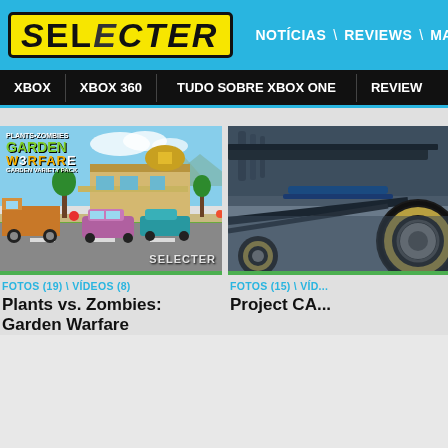SELECTER — NOTÍCIAS \ REVIEWS \ MATÉRI...
XBOX  XBOX 360  TUDO SOBRE XBOX ONE  REVIEW...
[Figure (screenshot): Plants vs. Zombies Garden Warfare game screenshot showing a colorful cartoon city street scene with a large truck, cars, and a gas station. SELECTER watermark in bottom right.]
[Figure (screenshot): Project CARS game screenshot showing close-up of a racing car's rear wheel and suspension in dark/grey tones.]
FOTOS (19) \ VÍDEOS (8)
FOTOS (15) \ VÍD...
Plants vs. Zombies: Garden Warfare
Project CA...